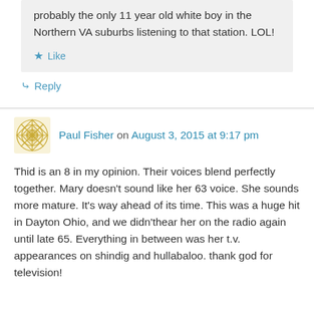probably the only 11 year old white boy in the Northern VA suburbs listening to that station. LOL!
★ Like
↳ Reply
Paul Fisher on August 3, 2015 at 9:17 pm
Thid is an 8 in my opinion. Their voices blend perfectly together. Mary doesn't sound like her 63 voice. She sounds more mature. It's way ahead of its time. This was a huge hit in Dayton Ohio, and we didn'thear her on the radio again until late 65. Everything in between was her t.v. appearances on shindig and hullabaloo. thank god for television!